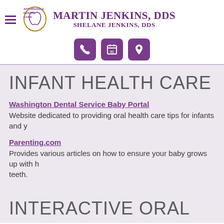Affordable Dental Care — Martin Jenkins, DDS | Shelane Jenkins, DDS
INFANT HEALTH CARE
Washington Dental Service Baby Portal
Website dedicated to providing oral health care tips for infants and y...
Parenting.com
Provides various articles on how to ensure your baby grows up with h... teeth.
INTERACTIVE ORAL